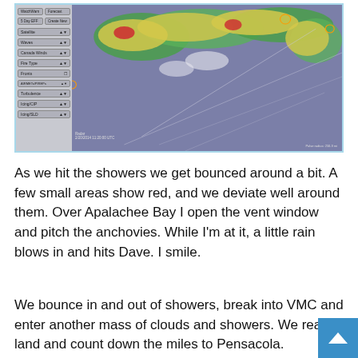[Figure (screenshot): Aviation weather application showing a radar map with storm cells displayed in yellow, green, and red over the southeastern United States. Left sidebar shows layer controls including Satellite, Waves, Canada Winds, Fire Type, Fronts, AIRMETs/SIGMETs, Turbulence, Icing/CIP, Icing/SLD. Radar timestamp shown at bottom left. Scale indicator at bottom right.]
As we hit the showers we get bounced around a bit. A few small areas show red, and we deviate well around them. Over Apalachee Bay I open the vent window and pitch the anchovies. While I'm at it, a little rain blows in and hits Dave. I smile.
We bounce in and out of showers, break into VMC and enter another mass of clouds and showers. We reach land and count down the miles to Pensacola.